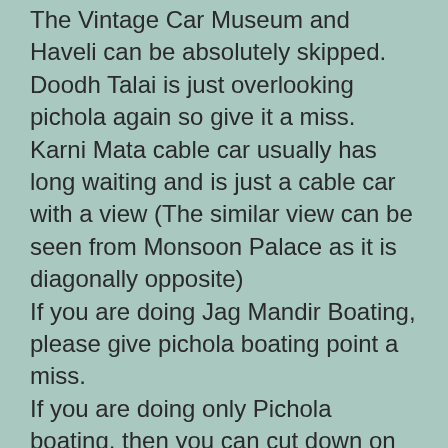The Vintage Car Museum and Haveli can be absolutely skipped. Doodh Talai is just overlooking pichola again so give it a miss. Karni Mata cable car usually has long waiting and is just a cable car with a view (The similar view can be seen from Monsoon Palace as it is diagonally opposite)
If you are doing Jag Mandir Boating, please give pichola boating point a miss.
If you are doing only Pichola boating, then you can cut down on Fateh Sagar Boating.
Best Time to Visit :
They say November to February. But in my